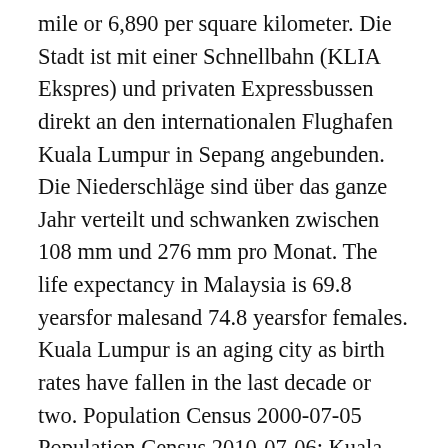mile or 6,890 per square kilometer. Die Stadt ist mit einer Schnellbahn (KLIA Ekspres) und privaten Expressbussen direkt an den internationalen Flughafen Kuala Lumpur in Sepang angebunden. Die Niederschläge sind über das ganze Jahr verteilt und schwanken zwischen 108 mm und 276 mm pro Monat. The life expectancy in Malaysia is 69.8 yearsfor malesand 74.8 yearsfor females. Kuala Lumpur is an aging city as birth rates have fallen in the last decade or two. Population Census 2000-07-05 Population Census 2010-07-06; Kuala Lumpur: Federal Territory: 1,379,310: 1,674,621: Malaysia: Federation: 23,274,690: 28,334,135 Penang | Für das Jahr 2035 wird eine